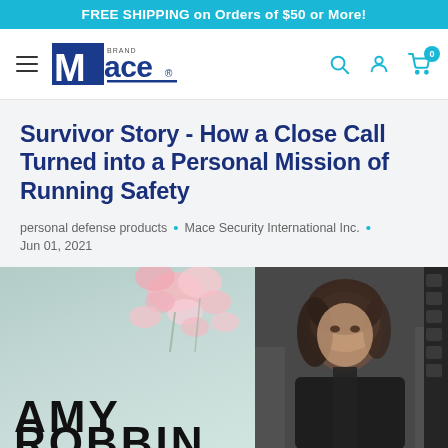FREE SHIPPING on Orders of $50 or More!
[Figure (logo): Mace Brand logo — blue block letter M with 'Mace' text and navigation icons (hamburger menu, search, user, cart with 0 badge)]
Survivor Story - How a Close Call Turned into a Personal Mission of Running Safety
personal defense products • Mace Security International Inc. • Jun 01, 2021
[Figure (photo): Split image: left side shows AMY (text cut off below, likely 'AMY ROBBINS') on a light teal background with pink flower blossoms; right side shows a dark-toned portrait photo of a woman with dark hair wearing a black jacket against a blurred outdoor background.]